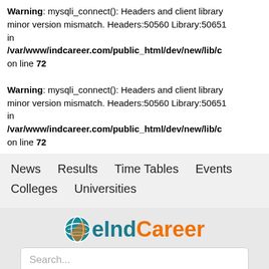Warning: mysqli_connect(): Headers and client library minor version mismatch. Headers:50560 Library:50651 in /var/www/indcareer.com/public_html/dev/new/lib/… on line 72
Warning: mysqli_connect(): Headers and client library minor version mismatch. Headers:50560 Library:50651 in /var/www/indcareer.com/public_html/dev/new/lib/… on line 72
News   Results   Time Tables   Events
Colleges   Universities
[Figure (logo): IndCareer logo with teal globe icon and orange/teal text]
Search...